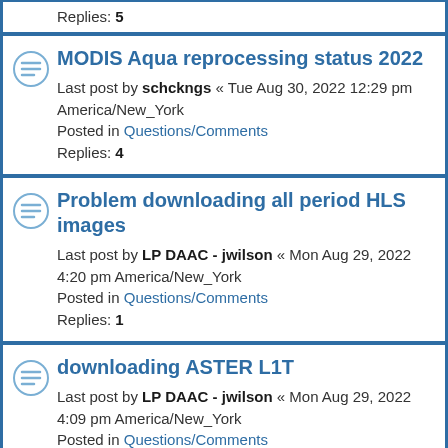Replies: 5
MODIS Aqua reprocessing status 2022 — Last post by schckngs « Tue Aug 30, 2022 12:29 pm America/New_York. Posted in Questions/Comments. Replies: 4
Problem downloading all period HLS images — Last post by LP DAAC - jwilson « Mon Aug 29, 2022 4:20 pm America/New_York. Posted in Questions/Comments. Replies: 1
downloading ASTER L1T — Last post by LP DAAC - jwilson « Mon Aug 29, 2022 4:09 pm America/New_York. Posted in Questions/Comments. Replies: 21